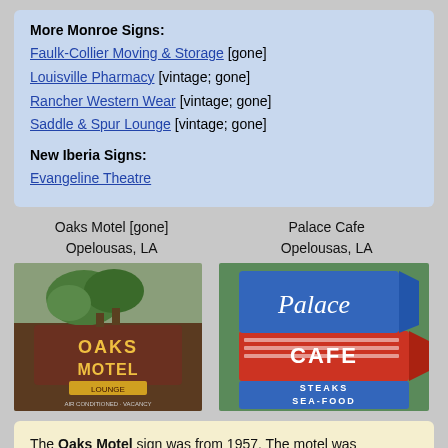More Monroe Signs:
Faulk-Collier Moving & Storage [gone]
Louisville Pharmacy [vintage; gone]
Rancher Western Wear [vintage; gone]
Saddle & Spur Lounge [vintage; gone]
New Iberia Signs:
Evangeline Theatre
Oaks Motel [gone]
Opelousas, LA
Palace Cafe
Opelousas, LA
[Figure (photo): Photo of Oaks Motel sign with lounge, air conditioned, vacancy text and large tree on top]
[Figure (photo): Photo of Palace Cafe sign with blue top reading Palace in script and red section reading CAFE with Steaks Sea-Food]
The Oaks Motel sign was from 1957. The motel was